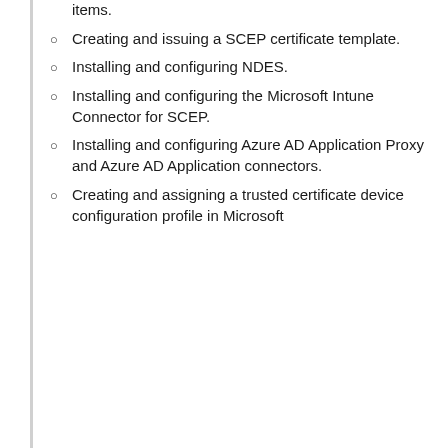items.
Creating and issuing a SCEP certificate template.
Installing and configuring NDES.
Installing and configuring the Microsoft Intune Connector for SCEP.
Installing and configuring Azure AD Application Proxy and Azure AD Application connectors.
Creating and assigning a trusted certificate device configuration profile in Microsoft